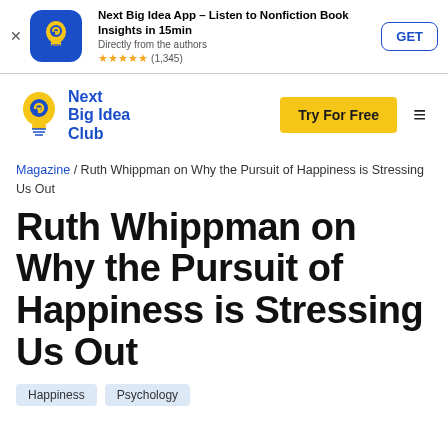[Figure (screenshot): App store banner for Next Big Idea App with icon, title, subtitle, star rating, and GET button]
[Figure (logo): Next Big Idea Club logo with lightbulb icon and text]
Try For Free
Magazine / Ruth Whippman on Why the Pursuit of Happiness is Stressing Us Out
Ruth Whippman on Why the Pursuit of Happiness is Stressing Us Out
Happiness
Psychology